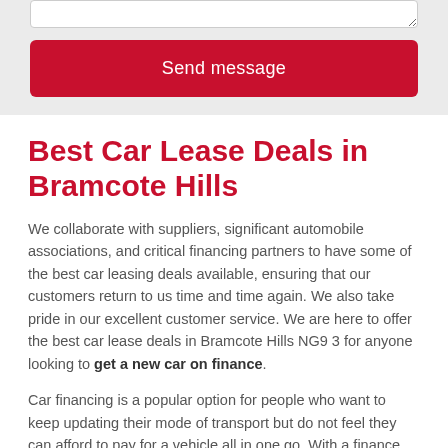[Figure (screenshot): A form area with a textarea and a red 'Send message' button on a light grey background.]
Best Car Lease Deals in Bramcote Hills
We collaborate with suppliers, significant automobile associations, and critical financing partners to have some of the best car leasing deals available, ensuring that our customers return to us time and time again. We also take pride in our excellent customer service. We are here to offer the best car lease deals in Bramcote Hills NG9 3 for anyone looking to get a new car on finance.
Car financing is a popular option for people who want to keep updating their mode of transport but do not feel they can afford to pay for a vehicle all in one go. With a finance agreement, you can pay off the amount over time with affordable fixed monthly payments.